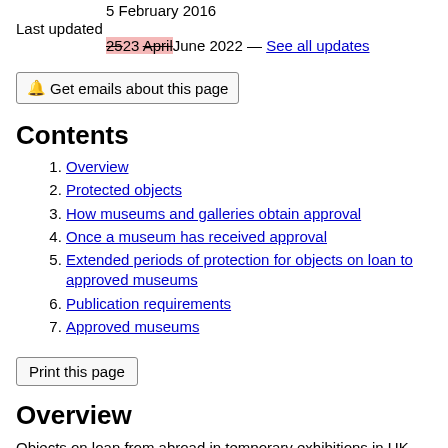5 February 2016
Last updated
2523 AprilJune 2022 — See all updates
Get emails about this page
Contents
1. Overview
2. Protected objects
3. How museums and galleries obtain approval
4. Once a museum has received approval
5. Extended periods of protection for objects on loan to approved museums
6. Publication requirements
7. Approved museums
Print this page
Overview
Objects on loan from abroad in temporary exhibitions in UK museums are protected from seizure by the UK courts when they are on display in a museum or gallery which has been approved by the Culture Secretary and where the museum or gallery has published